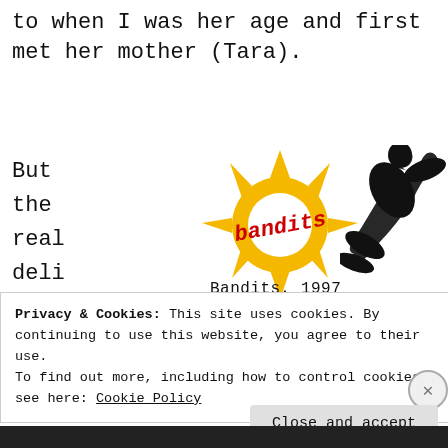to when I was her age and first met her mother (Tara).
But
the
real
deli
ght
was
[Figure (illustration): A golden sun logo with spiky rays and a circular center, with red text 'bandits' stamped across it. Next to it is a black silhouette of a person in a flying/jumping pose. Below is the caption 'Bandits, 1997'.]
Bandits, 1997
Privacy & Cookies: This site uses cookies. By continuing to use this website, you agree to their use.
To find out more, including how to control cookies, see here: Cookie Policy
Close and accept